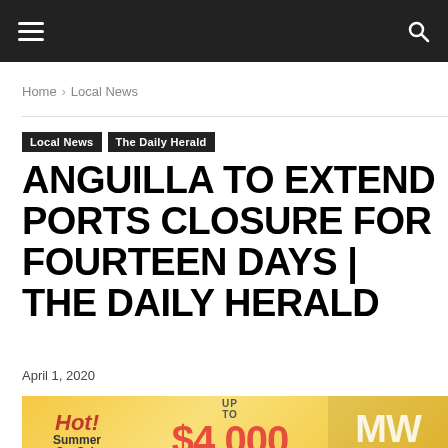≡  🔍
Home › Local News
Local News  The Daily Herald
ANGUILLA TO EXTEND PORTS CLOSURE FOR FOURTEEN DAYS | THE DAILY HERALD
April 1, 2020
[Figure (infographic): Hot Summer Car Sale advertisement banner: UP TO $4,000 OFF ON SELECTED MODELS, MW MOTORWORLD]